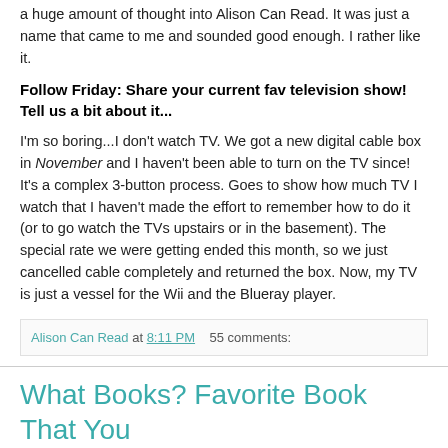a huge amount of thought into Alison Can Read. It was just a name that came to me and sounded good enough. I rather like it.
Follow Friday: Share your current fav television show! Tell us a bit about it...
I'm so boring...I don't watch TV. We got a new digital cable box in November and I haven't been able to turn on the TV since! It's a complex 3-button process. Goes to show how much TV I watch that I haven't made the effort to remember how to do it (or to go watch the TVs upstairs or in the basement). The special rate we were getting ended this month, so we just cancelled cable completely and returned the box. Now, my TV is just a vessel for the Wii and the Blueray player.
Alison Can Read at 8:11 PM   55 comments:
What Books? Favorite Book That You